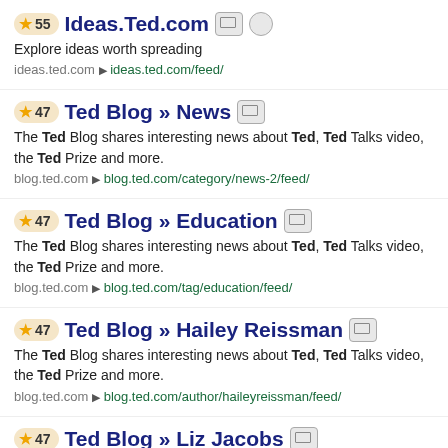55 Ideas.Ted.com — Explore ideas worth spreading. ideas.ted.com ▶ ideas.ted.com/feed/
47 Ted Blog » News — The Ted Blog shares interesting news about Ted, Ted Talks video, the Ted Prize and more. blog.ted.com ▶ blog.ted.com/category/news-2/feed/
47 Ted Blog » Education — The Ted Blog shares interesting news about Ted, Ted Talks video, the Ted Prize and more. blog.ted.com ▶ blog.ted.com/tag/education/feed/
47 Ted Blog » Hailey Reissman — The Ted Blog shares interesting news about Ted, Ted Talks video, the Ted Prize and more. blog.ted.com ▶ blog.ted.com/author/haileyreissman/feed/
47 Ted Blog » Liz Jacobs (partial)